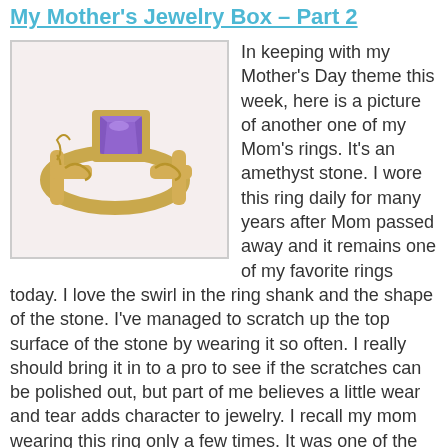My Mother's Jewelry Box – Part 2
[Figure (photo): Gold ring with a rectangular emerald-cut amethyst (purple) stone set in a gold band with swirl detail on the shank, photographed on a white background.]
In keeping with my Mother's Day theme this week, here is a picture of another one of my Mom's rings. It's an amethyst stone. I wore this ring daily for many years after Mom passed away and it remains one of my favorite rings today. I love the swirl in the ring shank and the shape of the stone. I've managed to scratch up the top surface of the stone by wearing it so often. I really should bring it in to a pro to see if the scratches can be polished out, but part of me believes a little wear and tear adds character to jewelry. I recall my mom wearing this ring only a few times. It was one of the newer pieces in her collection.
I'm excited to bring you more of my mother's jewelry box throughout this week. Going through the box is bringing back fond memories for me. Oh, how I loved trying on her jewelry